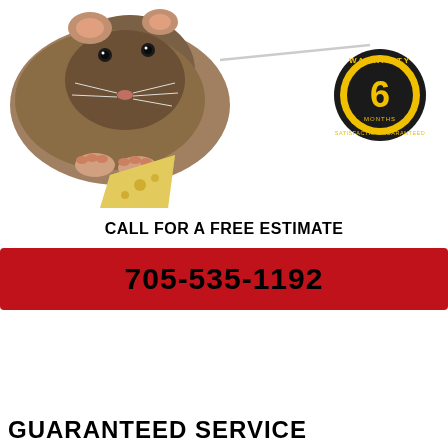[Figure (photo): A mouse/rat holding a piece of cheese, photographed on a white background. In the upper right corner there is a circular warranty badge reading 'WARRANTY 6 MONTHS SATISFACTION GUARANTEED' in black and yellow.]
CALL FOR A FREE ESTIMATE
705-535-1192
GUARANTEED SERVICE